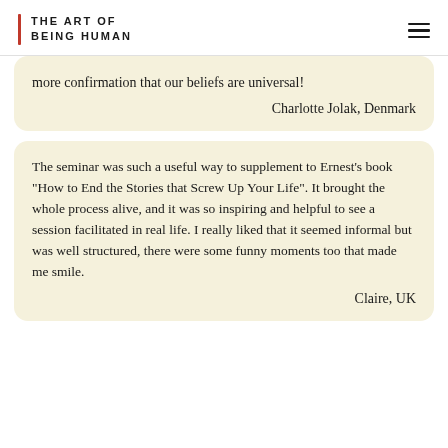THE ART OF BEING HUMAN
more confirmation that our beliefs are universal!

Charlotte Jolak, Denmark
The seminar was such a useful way to supplement to Ernest's book "How to End the Stories that Screw Up Your Life". It brought the whole process alive, and it was so inspiring and helpful to see a session facilitated in real life. I really liked that it seemed informal but was well structured, there were some funny moments too that made me smile.

Claire, UK